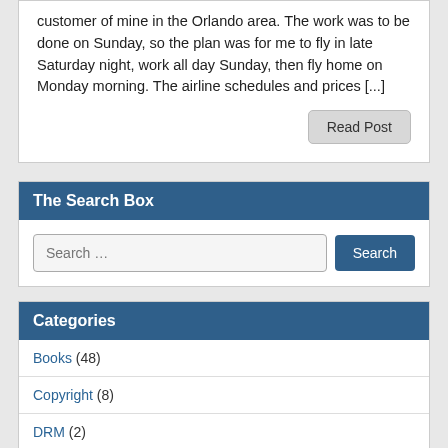customer of mine in the Orlando area. The work was to be done on Sunday, so the plan was for me to fly in late Saturday night, work all day Sunday, then fly home on Monday morning. The airline schedules and prices [...]
Read Post
The Search Box
Search ...
Categories
Books (48)
Copyright (8)
DRM (2)
Exchange (1)
Faith (9)